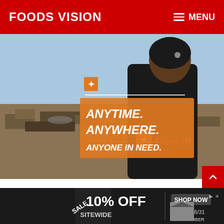FOODS VISION   ≡ MENU
[Figure (photo): DirectRelief charity advertisement — person in black jacket with DirectRelief logo seen from behind, rubble in background, orange text overlay: ANYTIME. ANYWHERE. ANYONE IN NEED.]
The fast food industry is notorious for its low pay, but by the same token, we assume that it's not as hard or difficult
[Figure (infographic): Bottom advertisement banner: SALE 10% OFF SITEWIDE, SHOP NOW, ENDS 8/31, BIG TIMBER]